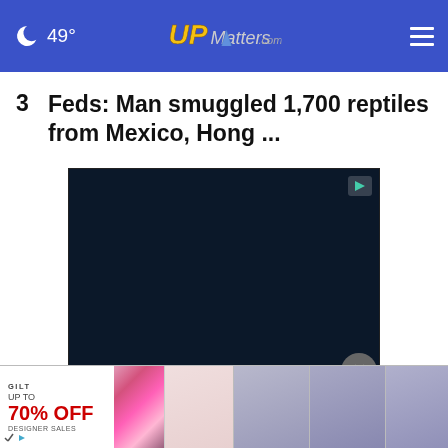49° UPMatters.com
3  Feds: Man smuggled 1,700 reptiles from Mexico, Hong ...
[Figure (other): Dark navy video advertisement block with a play indicator badge in the top right corner and a close (X) button overlay]
[Figure (other): Bottom banner advertisement from Gilt showing 'UP TO 70% OFF' with product images of shoes, bedding and jewelry rings]